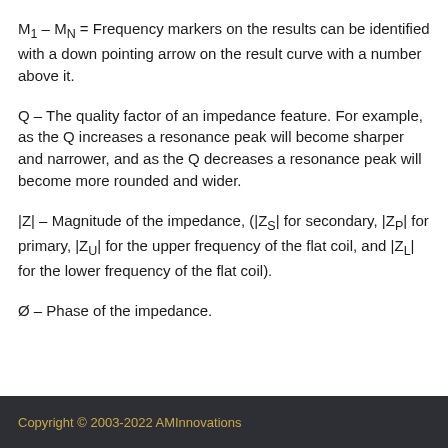M1 – MN = Frequency markers on the results can be identified with a down pointing arrow on the result curve with a number above it.
Q – The quality factor of an impedance feature. For example, as the Q increases a resonance peak will become sharper and narrower, and as the Q decreases a resonance peak will become more rounded and wider.
|Z| – Magnitude of the impedance, (|Zs| for secondary, |Zp| for primary, |Zu| for the upper frequency of the flat coil, and |Zl| for the lower frequency of the flat coil).
Ø – Phase of the impedance.
Copyright © 2003-2022 AMInnovations